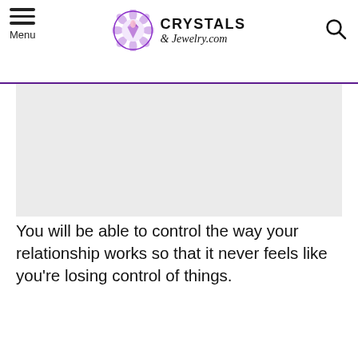CRYSTALS & Jewelry.com — Menu / Search nav bar
[Figure (other): Advertisement placeholder block (gray background)]
You will be able to control the way your relationship works so that it never feels like you're losing control of things.
Your relationship will never slip away from your hands because Arfvedsonite will allow you to shape the course that you want to take in your relationship.
WHAT'S NEXT → Aegirine | Aegir
You'd be able to build on a solid foundation of trust and...